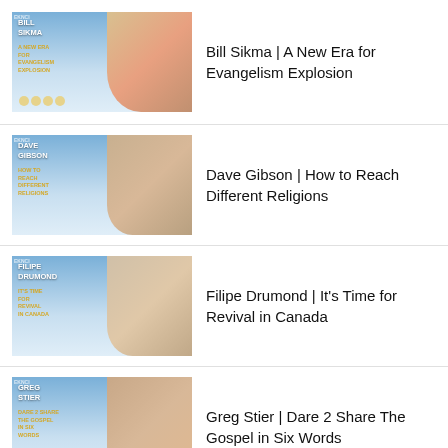Bill Sikma | A New Era for Evangelism Explosion
Dave Gibson | How to Reach Different Religions
Filipe Drumond | It’s Time for Revival in Canada
Greg Stier | Dare 2 Share The Gospel in Six Words
R. York Moore | The TikTok Evangelist